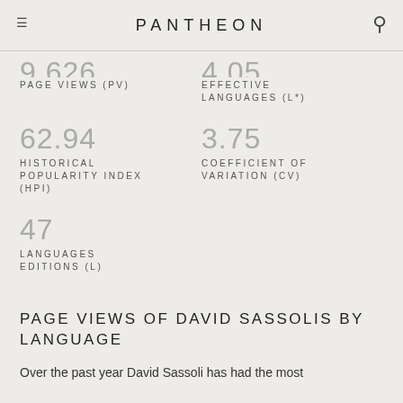PANTHEON
PAGE VIEWS (PV)
EFFECTIVE LANGUAGES (L*)
62.94
HISTORICAL POPULARITY INDEX (HPI)
3.75
COEFFICIENT OF VARIATION (CV)
47
LANGUAGES EDITIONS (L)
PAGE VIEWS OF DAVID SASSOLIS BY LANGUAGE
Over the past year David Sassoli has had the most